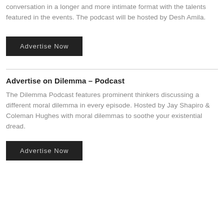conversation in a longer and more intimate format with the talents featured in the events. The podcast will be hosted by Desh Amila.
Advertise Now
Advertise on Dilemma – Podcast
The Dilemma Podcast features prominent thinkers discussing a different moral dilemma in every episode. Hosted by Jay Shapiro & Coleman Hughes with moral dilemmas to soothe your existential dread.
Advertise Now